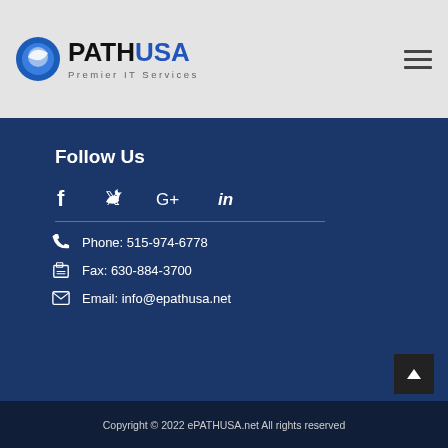ePATH USA Premier IT Services
Follow Us
[Figure (infographic): Social media icons: Facebook (f), Twitter (bird), Google+ (G+), LinkedIn (in)]
Phone: 515-974-6778
Fax: 630-884-3700
Email: info@epathusa.net
Copyright © 2022 ePATHUSA.net All rights reserved